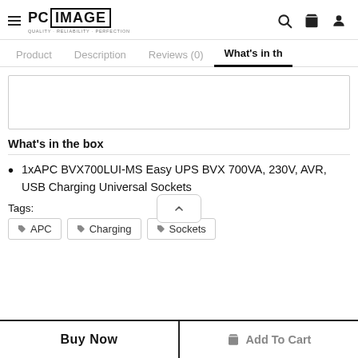PC IMAGE — navigation header with hamburger menu, logo, search, cart, and user icons
Product | Description | Reviews (0) | What's in th
[Figure (other): Empty white content box with border]
What's in the box
1xAPC BVX700LUI-MS Easy UPS BVX 700VA, 230V, AVR, USB Charging Universal Sockets
Tags:
APC   Charging   Sockets
Buy Now   Add To Cart